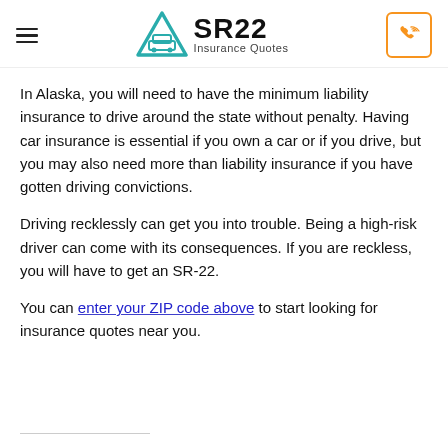SR22 Insurance Quotes
In Alaska, you will need to have the minimum liability insurance to drive around the state without penalty. Having car insurance is essential if you own a car or if you drive, but you may also need more than liability insurance if you have gotten driving convictions.
Driving recklessly can get you into trouble. Being a high-risk driver can come with its consequences. If you are reckless, you will have to get an SR-22.
You can enter your ZIP code above to start looking for insurance quotes near you.